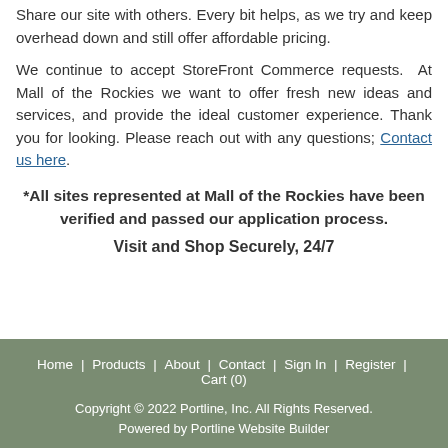Share our site with others. Every bit helps, as we try and keep overhead down and still offer affordable pricing.
We continue to accept StoreFront Commerce requests. At Mall of the Rockies we want to offer fresh new ideas and services, and provide the ideal customer experience. Thank you for looking. Please reach out with any questions; Contact us here.
*All sites represented at Mall of the Rockies have been verified and passed our application process.
Visit and Shop Securely, 24/7
Home | Products | About | Contact | Sign In | Register | Cart (0)
Copyright © 2022 Portline, Inc. All Rights Reserved.
Powered by Portline Website Builder